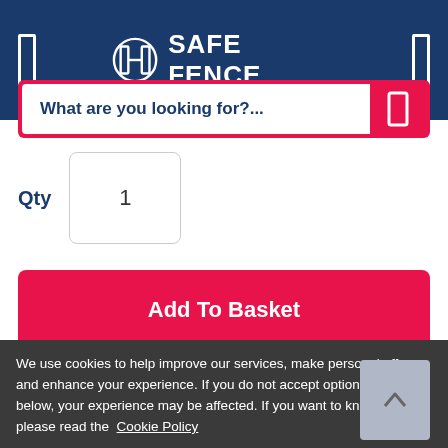[Figure (logo): Safe Fence logo with shield/fence icon and white text 'SAFE FENCE' on dark blue header background]
What are you looking for?...
Qty  1
Add To Basket
Enquire
We use cookies to help improve our services, make personal offers, and enhance your experience. If you do not accept optional cookies below, your experience may be affected. If you want to know more, please read the Cookie Policy